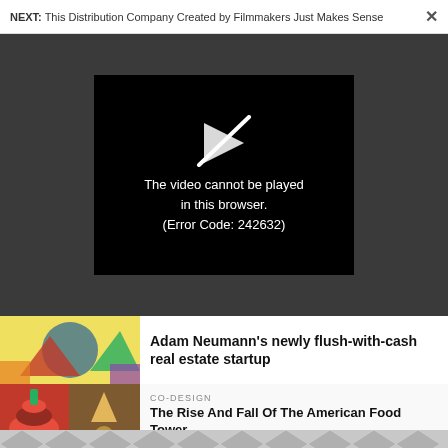NEXT: This Distribution Company Created by Filmmakers Just Makes Sense ×
[Figure (screenshot): Video player showing error: The video cannot be played in this browser. (Error Code: 242632)]
Adam Neumann's newly flush-with-cash real estate startup
CO-DESIGN
The Rise And Fall Of The American Food Tower
[Figure (illustration): Bottom decorative hexagon/diamond tile pattern in gray]